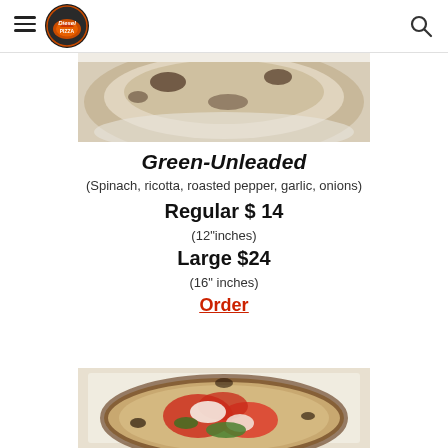[Figure (logo): Diesel Pizza logo circular badge with flame and pizza imagery]
[Figure (photo): Top portion of a pizza with charred crust on a white plate, partially cropped]
Green-Unleaded
(Spinach, ricotta, roasted pepper, garlic, onions)
Regular $ 14
(12"inches)
Large $24
(16" inches)
Order
[Figure (photo): Bottom portion showing a Neapolitan-style pizza with tomato sauce, mozzarella, and fresh basil on parchment paper]